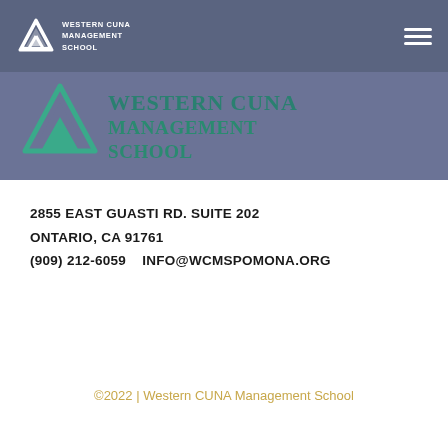Western CUNA Management School
[Figure (logo): Western CUNA Management School logo with green triangle/arrow icon and teal text on slate-blue banner background]
2855 EAST GUASTI RD. SUITE 202
ONTARIO, CA 91761
(909) 212-6059   INFO@WCMSPOMONA.ORG
©2022 | Western CUNA Management School